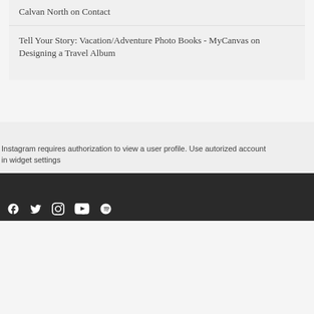Calvan North on Contact
Tell Your Story: Vacation/Adventure Photo Books - MyCanvas on Designing a Travel Album
Instagram requires authorization to view a user profile. Use autorized account in widget settings
[social media icons: Facebook, Twitter/X, Instagram, YouTube, other]